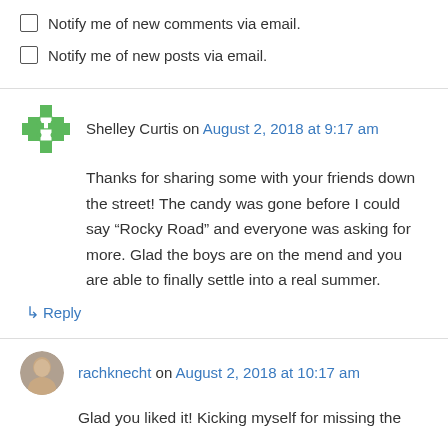Notify me of new comments via email.
Notify me of new posts via email.
Shelley Curtis on August 2, 2018 at 9:17 am
Thanks for sharing some with your friends down the street! The candy was gone before I could say “Rocky Road” and everyone was asking for more. Glad the boys are on the mend and you are able to finally settle into a real summer.
↳ Reply
rachknecht on August 2, 2018 at 10:17 am
Glad you liked it! Kicking myself for missing the